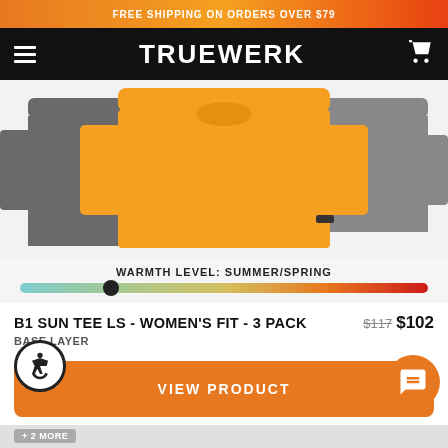FREE SHIPPING ON ORDERS OVER $79
[Figure (logo): Truewerk logo and navigation bar with hamburger menu and cart icon on black background]
[Figure (photo): Product photo of B1 Sun Tee LS shirts in orange and gray colorways on light gray background]
WARMTH LEVEL: SUMMER/SPRING
B1 SUN TEE LS - WOMEN'S FIT - 3 PACK
$117 $102
BASE LAYER
VIEW PRODUCT